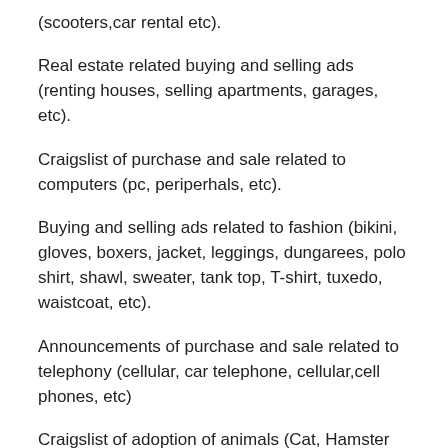(scooters,car rental etc).
Real estate related buying and selling ads (renting houses, selling apartments, garages, etc).
Craigslist of purchase and sale related to computers (pc, periperhals, etc).
Buying and selling ads related to fashion (bikini, gloves, boxers, jacket, leggings, dungarees, polo shirt, shawl, sweater, tank top, T-shirt, tuxedo, waistcoat, etc).
Announcements of purchase and sale related to telephony (cellular, car telephone, cellular,cell phones, etc)
Craigslist of adoption of animals (Cat, Hamster…